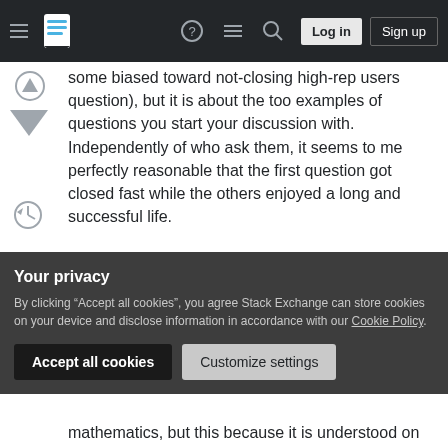Stack Exchange navigation bar with hamburger menu, logo, help, chat, search, Log in, Sign up
some biased toward not-closing high-rep users question), but it is about the too examples of questions you start your discussion with. Independently of who ask them, it seems to me perfectly reasonable that the first question got closed fast while the others enjoyed a long and successful life.
Indeed, it is true that the first question doesn't concern mathematics or the mathematical work. It can be asked, and answered uniformly in all academia, from Economics to east-asian studies to
Your privacy
By clicking “Accept all cookies”, you agree Stack Exchange can store cookies on your device and disclose information in accordance with our Cookie Policy.
Accept all cookies   Customize settings
mathematics, but this because it is understood on